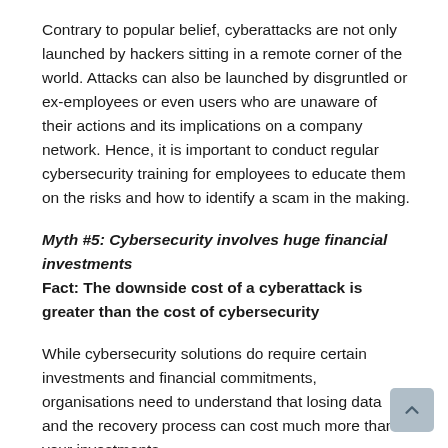Contrary to popular belief, cyberattacks are not only launched by hackers sitting in a remote corner of the world. Attacks can also be launched by disgruntled or ex-employees or even users who are unaware of their actions and its implications on a company network. Hence, it is important to conduct regular cybersecurity training for employees to educate them on the risks and how to identify a scam in the making.
Myth #5: Cybersecurity involves huge financial investments Fact: The downside cost of a cyberattack is greater than the cost of cybersecurity
While cybersecurity solutions do require certain investments and financial commitments, organisations need to understand that losing data and the recovery process can cost much more than your investments.
The above myths are just a glimpse into some of the